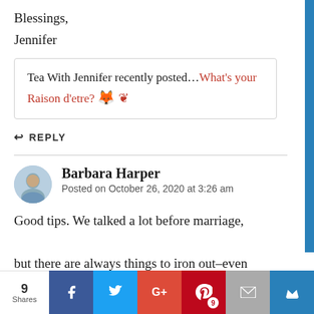Blessings,
Jennifer
Tea With Jennifer recently posted...What's your Raison d'etre? 🐦
↩ REPLY
Barbara Harper
Posted on October 26, 2020 at 3:26 am
Good tips. We talked a lot before marriage, but there are always things to iron out–even after being married 40 years now. Good to
9 Shares